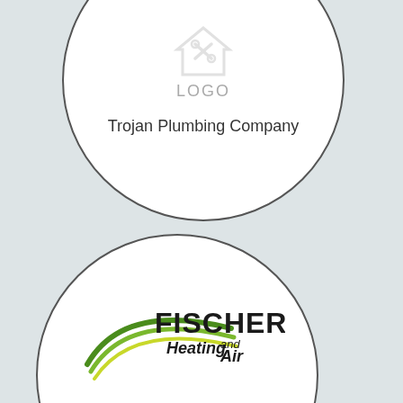[Figure (logo): Circle card with placeholder logo icon and text 'LOGO' above company name 'Trojan Plumbing Company']
Trojan Plumbing Company
[Figure (logo): Circle card with Fischer Heating and Air logo — green swoosh curves with bold black text 'FISCHER Heating and Air']
Fischer Heating and Air Conditioning